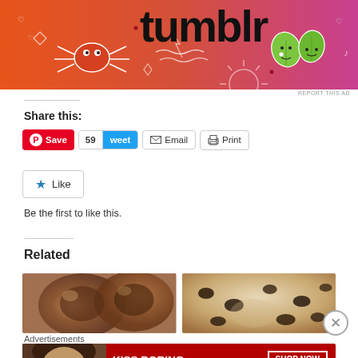[Figure (photo): Tumblr advertisement banner with orange-to-pink gradient background, white doodle illustrations of a crab/spider creature, wavy lines, hearts, and green leaf characters. 'tumblr' text in large bold black letters at top.]
REPORT THIS AD
Share this:
Save  59  weet  Email  Print
Like
Be the first to like this.
Related
[Figure (photo): Two food images side by side: left shows chocolate/caramel dessert in a bowl, right shows chocolate chip cookie dough or baked good.]
Advertisements
[Figure (photo): Macy's advertisement: woman's face with red lips, text 'KISS BORING LIPS GOODBYE', 'SHOP NOW' button, Macy's star logo.]